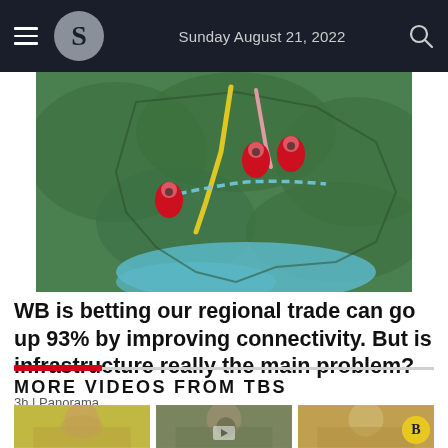Sunday August 21, 2022
[Figure (map): Map of Bangladesh and surrounding region showing trade connectivity routes with red location pins and colored route lines (yellow, pink, blue dashed) overlaid on a green topographic map.]
WB is betting our regional trade can go up 93% by improving connectivity. But is infrastructure really the main problem?
3h | Panorama
MORE VIDEOS FROM TBS
[Figure (photo): Three video thumbnail images showing people's faces, with a TBS logo badge on the last thumbnail.]